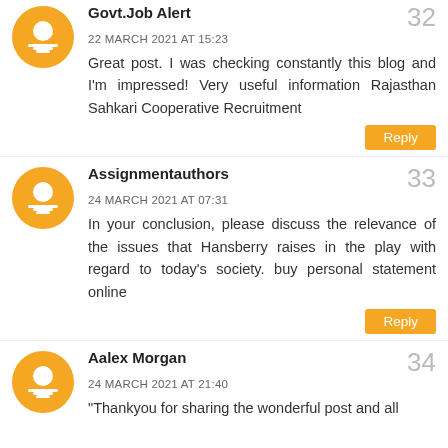Govt.Job Alert
32
22 MARCH 2021 AT 15:23
Great post. I was checking constantly this blog and I'm impressed! Very useful information Rajasthan Sahkari Cooperative Recruitment
Reply
Assignmentauthors
33
24 MARCH 2021 AT 07:31
In your conclusion, please discuss the relevance of the issues that Hansberry raises in the play with regard to today's society. buy personal statement online
Reply
Aalex Morgan
34
24 MARCH 2021 AT 21:40
"Thankyou for sharing the wonderful post and all